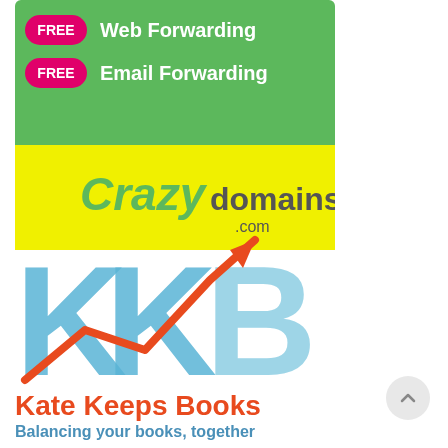[Figure (infographic): Crazy Domains advertisement banner with green background showing FREE Web Forwarding and FREE Email Forwarding badges, and yellow section with Crazy Domains .com logo]
[Figure (logo): Kate Keeps Books logo featuring large blue KKB letters with an orange upward trending arrow overlaid, with text 'Kate Keeps Books' in orange and 'Balancing your books, together' in blue-gray]